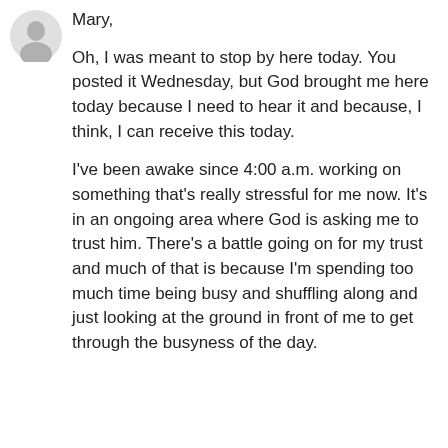[Figure (illustration): Gray silhouette avatar icon of a person, top-left corner]
Mary,
Oh, I was meant to stop by here today. You posted it Wednesday, but God brought me here today because I need to hear it and because, I think, I can receive this today.
I've been awake since 4:00 a.m. working on something that's really stressful for me now. It's in an ongoing area where God is asking me to trust him. There's a battle going on for my trust and much of that is because I'm spending too much time being busy and shuffling along and just looking at the ground in front of me to get through the busyness of the day.